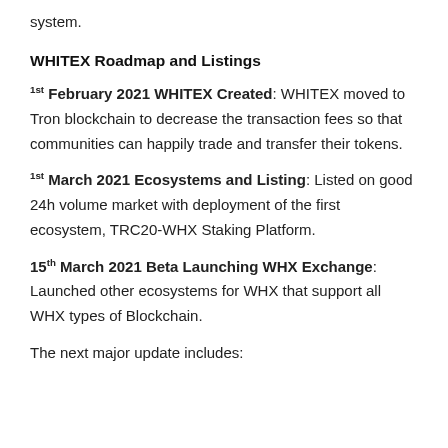system.
WHITEX Roadmap and Listings
1st February 2021 WHITEX Created: WHITEX moved to Tron blockchain to decrease the transaction fees so that communities can happily trade and transfer their tokens.
1st March 2021 Ecosystems and Listing: Listed on good 24h volume market with deployment of the first ecosystem, TRC20-WHX Staking Platform.
15th March 2021 Beta Launching WHX Exchange: Launched other ecosystems for WHX that support all WHX types of Blockchain.
The next major update includes: